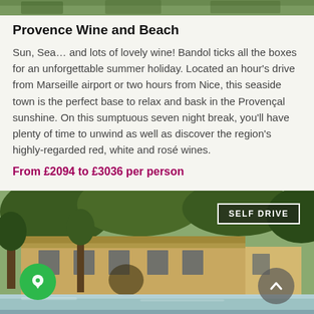[Figure (photo): Top strip of a vacation photo showing greenery and trees]
Provence Wine and Beach
Sun, Sea… and lots of lovely wine! Bandol ticks all the boxes for an unforgettable summer holiday. Located an hour's drive from Marseille airport or two hours from Nice, this seaside town is the perfect base to relax and bask in the Provençal sunshine. On this sumptuous seven night break, you'll have plenty of time to unwind as well as discover the region's highly-regarded red, white and rosé wines.
From £2094 to £3036 per person
[Figure (photo): Provençal farmhouse with pool, surrounded by trees, with a 'SELF DRIVE' badge overlay, a green chat button bottom-left, and an up-arrow button bottom-right]